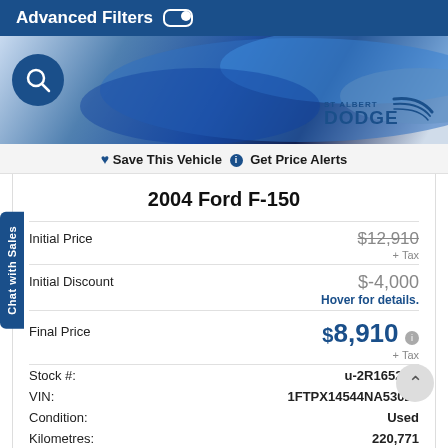Advanced Filters
[Figure (photo): Car covered in blue cloth with St Albert Dodge dealer logo overlay and search icon]
❤ Save This Vehicle ℹ Get Price Alerts
2004 Ford F-150
|  |  |
| --- | --- |
| Initial Price | $12,910 + Tax |
| Initial Discount | $-4,000 Hover for details. |
| Final Price | $8,910 + Tax |
| Stock #: | u-2R16529C |
| VIN: | 1FTPX14544NA53024 |
| Condition: | Used |
| Kilometres: | 220,771 |
| Body Style: | Extended Cab |